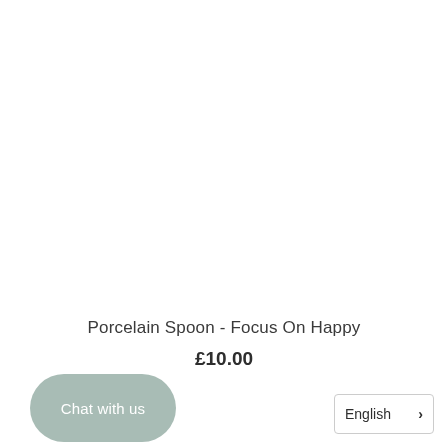Porcelain Spoon - Focus On Happy
£10.00
Chat with us
English